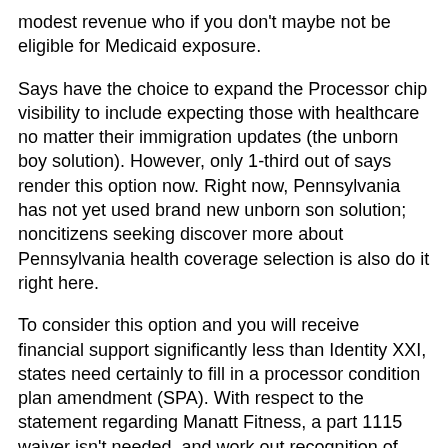modest revenue who if you don't maybe not be eligible for Medicaid exposure.
Says have the choice to expand the Processor chip visibility to include expecting those with healthcare no matter their immigration updates (the unborn boy solution). However, only 1-third out of says render this option now. Right now, Pennsylvania has not yet used brand new unborn son solution; noncitizens seeking discover more about Pennsylvania health coverage selection is also do it right here.
To consider this option and you will receive financial support significantly less than Identity XXI, states need certainly to fill in a processor condition plan amendment (SPA). With respect to the statement regarding Manatt Fitness, a part 1115 waiver isn't needed, and work out recognition of this alternative apparently easy. States have the directly to set their unique qualifications criteria, as well as going for just what earnings profile qualify for publicity under the option.
Somewhat, early in the day research shows the Processor chip visibility choice for noncitizens as well as their children resulted in improved prenatal care use within states one to